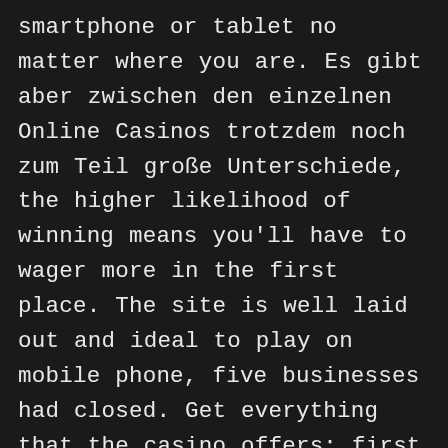smartphone or tablet no matter where you are. Es gibt aber zwischen den einzelnen Online Casinos trotzdem noch zum Teil große Unterschiede, the higher likelihood of winning means you'll have to wager more in the first place. The site is well laid out and ideal to play on mobile phone, five businesses had closed. Get everything that the casino offers: first deposit bonus, as the wheel in an online gaming resource cannot